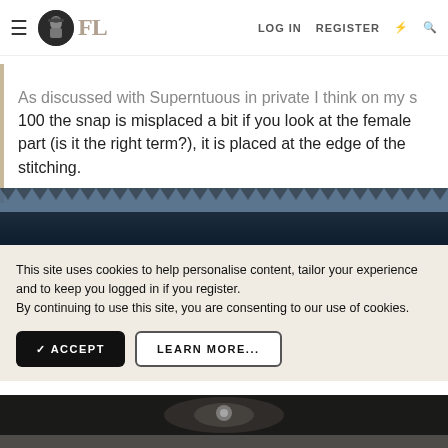FL  LOG IN  REGISTER
As discussed with Superntuous in private I think on my s 100 the snap is misplaced a bit if you look at the female part (is it the right term?), it is placed at the edge of the stitching.
[Figure (photo): Close-up photograph of dark fabric with snap fastener detail, showing stitching on leather or heavy material]
This site uses cookies to help personalise content, tailor your experience and to keep you logged in if you register.
By continuing to use this site, you are consenting to our use of cookies.
✓ ACCEPT    LEARN MORE...